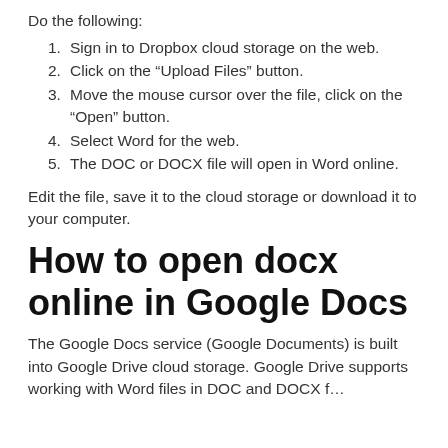Do the following:
Sign in to Dropbox cloud storage on the web.
Click on the “Upload Files” button.
Move the mouse cursor over the file, click on the “Open” button.
Select Word for the web.
The DOC or DOCX file will open in Word online.
Edit the file, save it to the cloud storage or download it to your computer.
How to open docx online in Google Docs
The Google Docs service (Google Documents) is built into Google Drive cloud storage. Google Drive supports working with Word files in DOC and DOCX f…